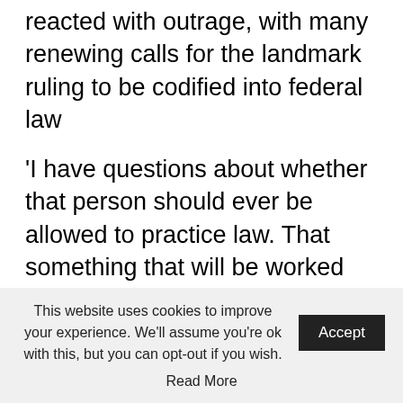reacted with outrage, with many renewing calls for the landmark ruling to be codified into federal law
'I have questions about whether that person should ever be allowed to practice law. That something that will be worked out in due time. These are small circles. As a former Supreme Court clerk I can tell you there are very few people in the entire building who had access to the opinion,' he said on Fox.
'I am virtually certain there are number people
This website uses cookies to improve your experience. We'll assume you're ok with this, but you can opt-out if you wish. Accept Read More